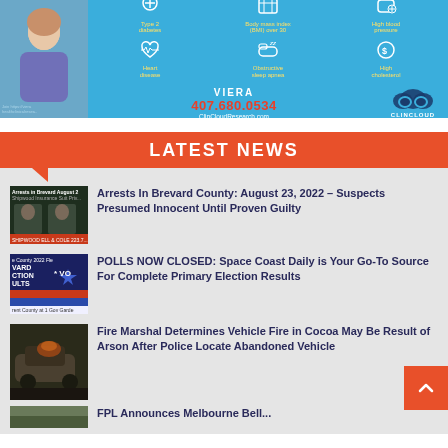[Figure (infographic): ClinCloud advertisement banner showing a woman holding a water bottle, health condition icons (Type 2 diabetes, Body mass index BMI over 30, High blood pressure, Heart disease, Obstructive sleep apnea, High cholesterol), location VIERA, phone 407.680.0534, website ClinCloudResearch.com, and ClinCloud logo]
LATEST NEWS
Arrests In Brevard County: August 23, 2022 – Suspects Presumed Innocent Until Proven Guilty
POLLS NOW CLOSED: Space Coast Daily is Your Go-To Source For Complete Primary Election Results
Fire Marshal Determines Vehicle Fire in Cocoa May Be Result of Arson After Police Locate Abandoned Vehicle